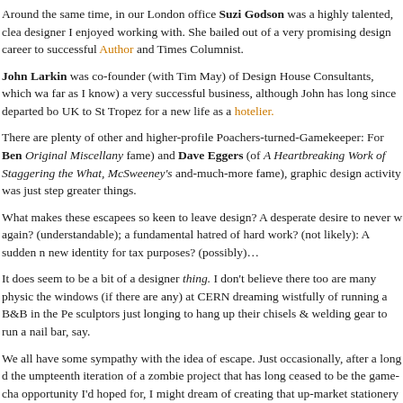Around the same time, in our London office Suzi Godson was a highly talented, clea designer I enjoyed working with. She bailed out of a very promising design career to successful Author and Times Columnist.
John Larkin was co-founder (with Tim May) of Design House Consultants, which wa far as I know) a very successful business, although John has long since departed bo UK to St Tropez for a new life as a hotelier.
There are plenty of other and higher-profile Poachers-turned-Gamekeeper: For Ben Original Miscellany fame) and Dave Eggers (of A Heartbreaking Work of Staggering the What, McSweeney's and-much-more fame), graphic design activity was just step greater things.
What makes these escapees so keen to leave design? A desperate desire to never w again? (understandable); a fundamental hatred of hard work? (not likely): A sudden n new identity for tax purposes? (possibly)…
It does seem to be a bit of a designer thing. I don't believe there too are many physic the windows (if there are any) at CERN dreaming wistfully of running a B&B in the Pe sculptors just longing to hang up their chisels & welding gear to run a nail bar, say.
We all have some sympathy with the idea of escape. Just occasionally, after a long d the umpteenth iteration of a zombie project that has long ceased to be the game-cha opportunity I'd hoped for, I might dream of creating that up-market stationery / hardw Rome, that cut-price space-tourism business, the organic ferret-farm. But then: anoth project, another set of possibilities… Why be shackled to only one?
Design is a uniquely mobile profession, in which we are often temporarily in the privi